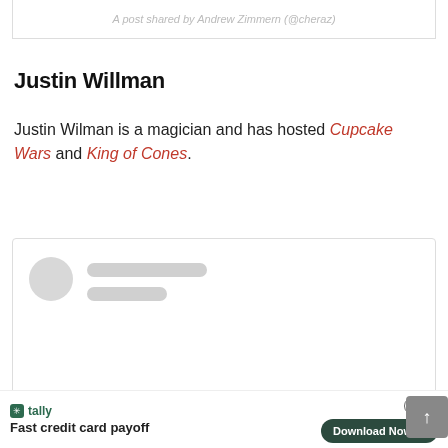[Figure (screenshot): Bottom portion of an embedded social media post showing italic grey caption text: 'A post shared by Andrew Zimmern (@cheraz)']
Justin Willman
Justin Wilman is a magician and has hosted Cupcake Wars and King of Cones.
[Figure (screenshot): Loading/skeleton state of an embedded social media card with circular avatar placeholder and two grey rounded rectangle line placeholders for text]
[Figure (screenshot): Advertisement bar at the bottom: Tally logo with 'Fast credit card payoff' tagline and a dark green 'Download Now' button with arrow, plus a question mark icon and X close button]